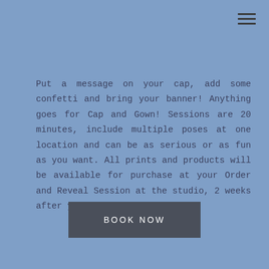[Figure (other): Hamburger menu icon (three horizontal lines) in top-right corner]
Put a message on your cap, add some confetti and bring your banner! Anything goes for Cap and Gown! Sessions are 20 minutes, include multiple poses at one location and can be as serious or as fun as you want. All prints and products will be available for purchase at your Order and Reveal Session at the studio, 2 weeks after your session.
BOOK NOW